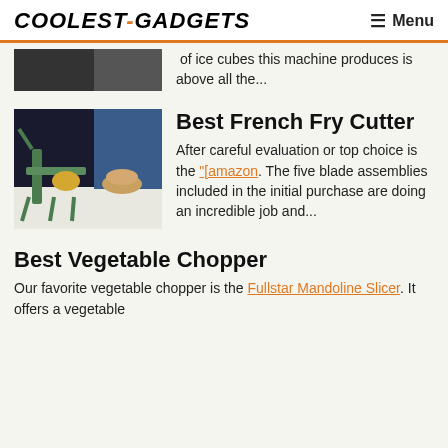COOLEST-GADGETS   Menu
[Figure (photo): Partial image of a product (top is cut off), dark background]
of ice cubes this machine produces is above all the...
[Figure (photo): A green french fry cutter machine on a white surface with potatoes in background]
Best French Fry Cutter
After careful evaluation or top choice is the "[amazon. The five blade assemblies included in the initial purchase are doing an incredible job and...
Best Vegetable Chopper
Our favorite vegetable chopper is the Fullstar Mandoline Slicer. It offers a vegetable